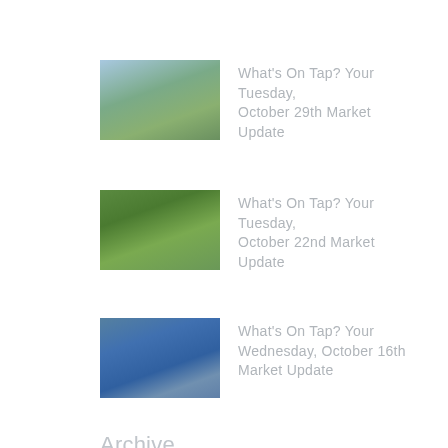[Figure (photo): Outdoor landscape with path and greenery]
What's On Tap? Your Tuesday, October 29th Market Update
[Figure (photo): Tree-lined road or path with green foliage]
What's On Tap? Your Tuesday, October 22nd Market Update
[Figure (photo): Coastal scene with water and buildings]
What's On Tap? Your Wednesday, October 16th Market Update
Archive